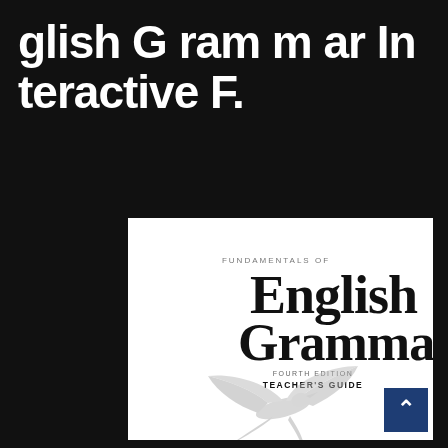glish Grammar Interactive F.
[Figure (photo): Book cover of Fundamentals of English Grammar, Fourth Edition, Teacher's Guide — featuring large serif title text and a gray swallow bird silhouette on white background]